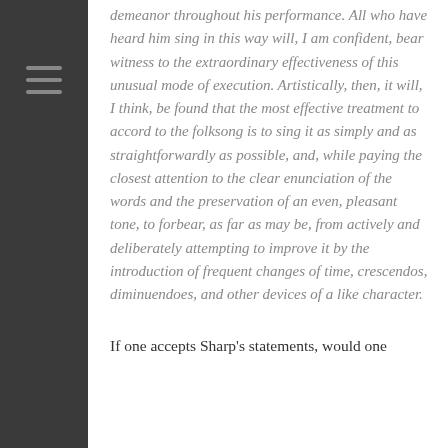demeanor throughout his performance. All who have heard him sing in this way will, I am confident, bear witness to the extraordinary effectiveness of this unusual mode of execution. Artistically, then, it will, I think, be found that the most effective treatment to accord to the folksong is to sing it as simply and as straightforwardly as possible, and, while paying the closest attention to the clear enunciation of the words and the preservation of an even, pleasant tone, to forbear, as far as may be, from actively and deliberately attempting to improve it by the introduction of frequent changes of time, crescendos, diminuendoes, and other devices of a like character.
If one accepts Sharp's statements, would one